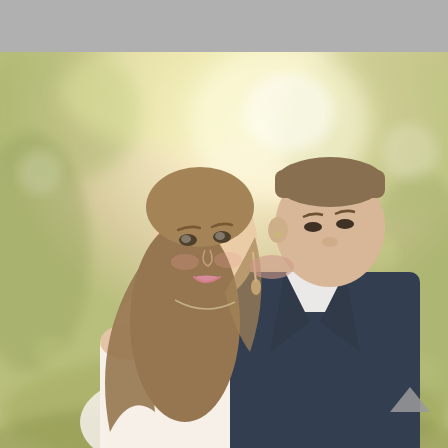[Figure (photo): A bride and groom outdoor portrait in warm golden backlight. The bride, with long wavy brunette hair and a strapless white dress, smiles softly at the camera while the groom in a dark navy suit kisses her cheek. Trees and bokeh light circles fill the background. A small grey upward-pointing scroll arrow appears in the lower right of the image.]